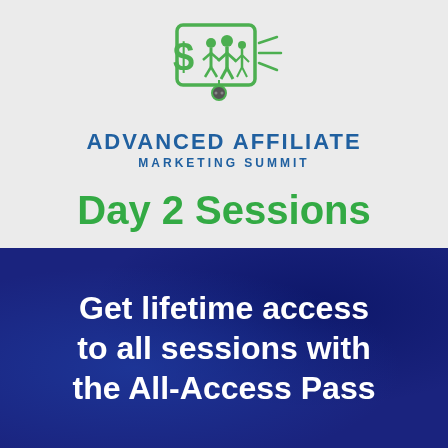[Figure (logo): Advanced Affiliate Marketing Summit logo — green icon of a dollar sign card with family figures and rays, with blue text below reading ADVANCED AFFILIATE MARKETING SUMMIT]
Day 2 Sessions
Get lifetime access to all sessions with the All-Access Pass